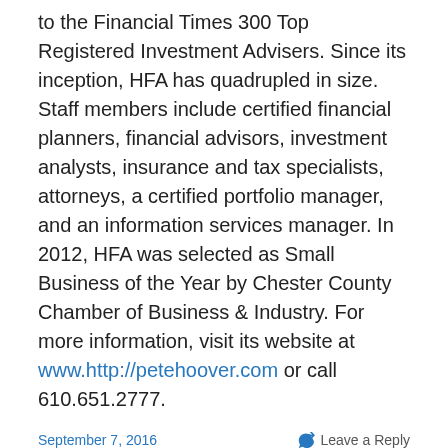to the Financial Times 300 Top Registered Investment Advisers. Since its inception, HFA has quadrupled in size. Staff members include certified financial planners, financial advisors, investment analysts, insurance and tax specialists, attorneys, a certified portfolio manager, and an information services manager. In 2012, HFA was selected as Small Business of the Year by Chester County Chamber of Business & Industry. For more information, visit its website at www.http://petehoover.com or call 610.651.2777.
September 7, 2016
Leave a Reply
A FAMILY MEETING CAN PREVENT FUTURE FRENZY